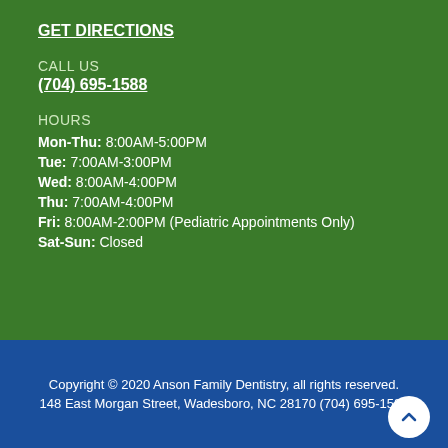GET DIRECTIONS
CALL US
(704) 695-1588
HOURS
Mon-Thu: 8:00AM-5:00PM
Tue: 7:00AM-3:00PM
Wed: 8:00AM-4:00PM
Thu: 7:00AM-4:00PM
Fri: 8:00AM-2:00PM (Pediatric Appointments Only)
Sat-Sun: Closed
Copyright © 2020 Anson Family Dentistry, all rights reserved. 148 East Morgan Street, Wadesboro, NC 28170 (704) 695-1588